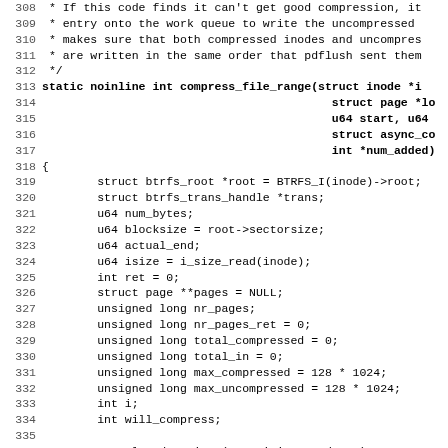Source code listing, lines 308–339, C code for compress_file_range function